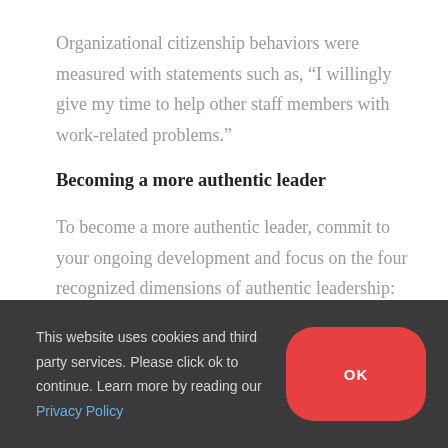Organizational citizenship behaviors were measured with statements such as, “I willingly give my time to help other staff members with work-related problems.”
Becoming a more authentic leader
To become a more authentic leader, commit to your ongoing development and focus on the four recognized dimensions of authentic leadership:
This website uses cookies and third party services. Please click ok to continue. Learn more by reading our Privacy Policy